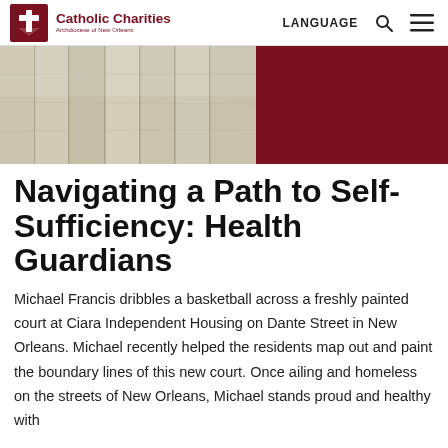Catholic Charities Archdiocese of New Orleans | LANGUAGE
[Figure (photo): Left half: photo of wooden fence/wall with pale painted planks. Right half: solid dark maroon/burgundy rectangle.]
Navigating a Path to Self-Sufficiency: Health Guardians
Michael Francis dribbles a basketball across a freshly painted court at Ciara Independent Housing on Dante Street in New Orleans. Michael recently helped the residents map out and paint the boundary lines of this new court. Once ailing and homeless on the streets of New Orleans, Michael stands proud and healthy with